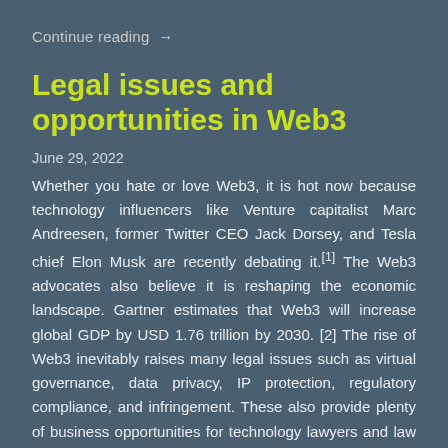Continue reading →
Legal issues and opportunities in Web3
June 29, 2022
Whether you hate or love Web3, it is hot now because technology influencers like Venture capitalist Marc Andreesen, former Twitter CEO Jack Dorsey, and Tesla chief Elon Musk are recently debating it.[1] The Web3 advocates also believe it is reshaping the economic landscape. Gartner estimates that Web3 will increase global GDP by USD 1.76 trillion by 2030. [2] The rise of Web3 inevitably raises many legal issues such as virtual governance, data privacy, IP protection, regulatory compliance, and infringement. These also provide plenty of business opportunities for technology lawyers and law firms to join this fast-evolving area of law. What